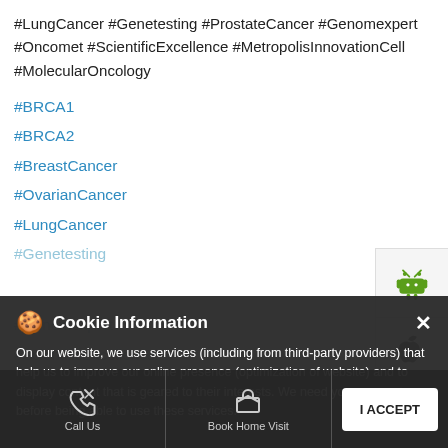#LungCancer #Genetesting #ProstateCancer #Genomexpert #Oncomet #ScientificExcellence #MetropolisInnovationCell #MolecularOncology
#BRCA1
#BRCA2
#BreastCancer
#OvarianCancer
#LungCancer
#Genetesting
[Figure (other): Android app download button (green Android robot icon)]
[Figure (other): Apple App Store download button (Apple logo icon)]
Cookie information
On our website, we use services (including from third-party providers) that help us to improve our online presence (optimization of website) and to display content that is geared to their interests. We need your consent before being able to use these services.
I ACCEPT
Call Us
Book Home Visit
Directions